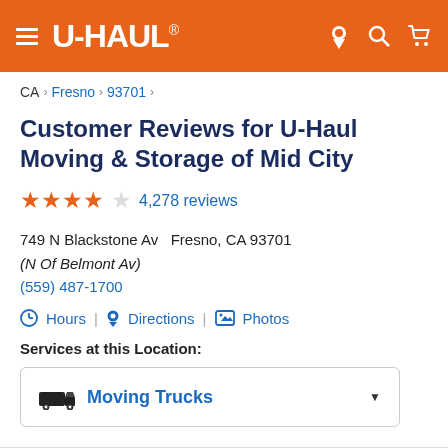U-HAUL® — navigation header with hamburger menu, location, search, and cart icons
CA > Fresno > 93701 >
Customer Reviews for U-Haul Moving & Storage of Mid City
★★★★☆ 4,278 reviews
749 N Blackstone Av   Fresno, CA 93701
(N Of Belmont Av)
(559) 487-1700
🕐 Hours | 📍 Directions | 🖼 Photos
Services at this Location:
Moving Trucks